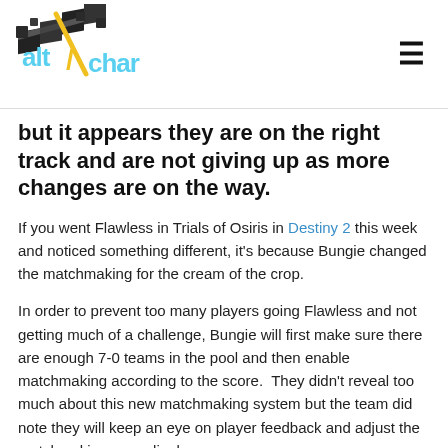AltChar logo and navigation menu
but it appears they are on the right track and are not giving up as more changes are on the way.
If you went Flawless in Trials of Osiris in Destiny 2 this week and noticed something different, it's because Bungie changed the matchmaking for the cream of the crop.
In order to prevent too many players going Flawless and not getting much of a challenge, Bungie will first make sure there are enough 7-0 teams in the pool and then enable matchmaking according to the score.  They didn't reveal too much about this new matchmaking system but the team did note they will keep an eye on player feedback and adjust the matchmaking accordingly.